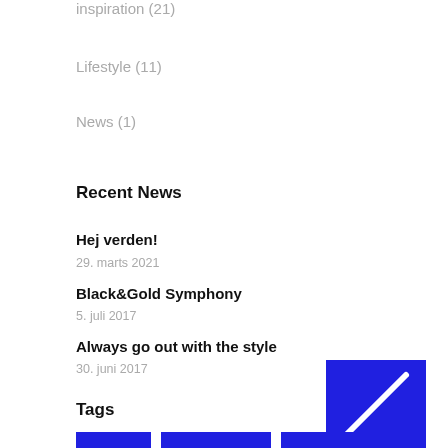Inspiration (21)
Lifestyle (11)
News (1)
Recent News
Hej verden!
29. marts 2021
Black&Gold Symphony
5. juli 2017
Always go out with the style
30. juni 2017
[Figure (illustration): Blue square with white diagonal stripe, decorative UI element]
Tags
[Figure (illustration): Three blue rectangular tag buttons partially visible at bottom]